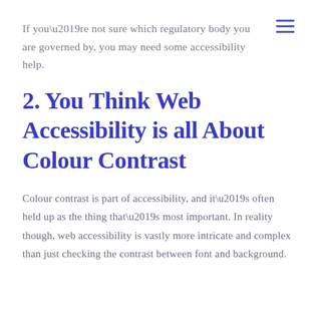If you’re not sure which regulatory body you are governed by, you may need some accessibility help.
2. You Think Web Accessibility is all About Colour Contrast
Colour contrast is part of accessibility, and it’s often held up as the thing that’s most important. In reality though, web accessibility is vastly more intricate and complex than just checking the contrast between font and background.